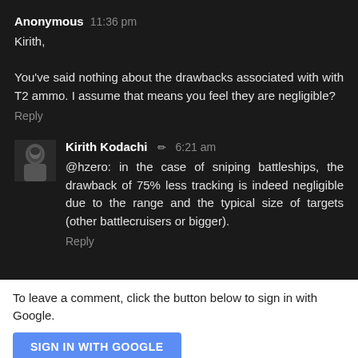Anonymous  11:36 pm
Kirith,

You've said nothing about the drawbacks associated with with T2 ammo. I assume that means you feel they are negligible?
Reply
Kirith Kodachi ✏ 6:21 am
@hzero: in the case of sniping battleships, the drawback of 75% less tracking is indeed negligible due to the range and the typical size of targets (other battlecruisers or bigger).
Reply
To leave a comment, click the button below to sign in with Google.
SIGN IN WITH GOOGLE